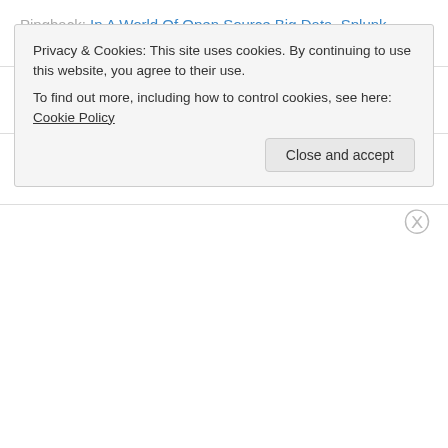Pingback: In A World Of Open Source Big Data, Splunk Should Not Exist
Pingback: Private Cloud May Lead Public Cloud In Nothing More Than Cloudwashing | DIGIZENS
Pingback: The end of the beginning of cloud computing | CloudPundit: Massive-Scale Computing
Privacy & Cookies: This site uses cookies. By continuing to use this website, you agree to their use. To find out more, including how to control cookies, see here: Cookie Policy